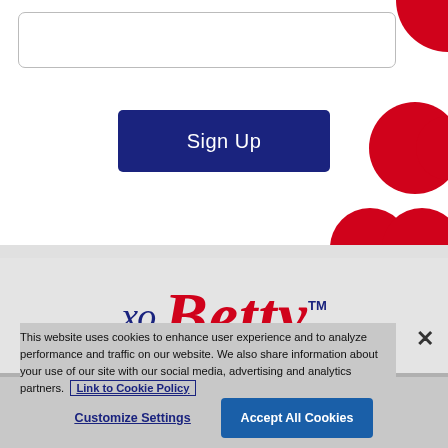[Figure (screenshot): Input text field (email/name field) with rounded border]
[Figure (illustration): Red decorative dots/circles in top-right corner]
Sign Up
[Figure (logo): xo. Betty logo with red script Betty text and blue xo. with TM mark]
This website uses cookies to enhance user experience and to analyze performance and traffic on our website. We also share information about your use of our site with our social media, advertising and analytics partners.  Link to Cookie Policy
Customize Settings
Accept All Cookies